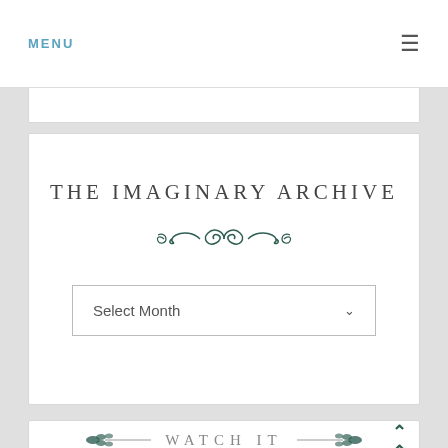MENU ≡
THE IMAGINARY ARCHIVE
[Figure (illustration): Decorative scrollwork ornament in dark green]
Select Month
WATCH IT